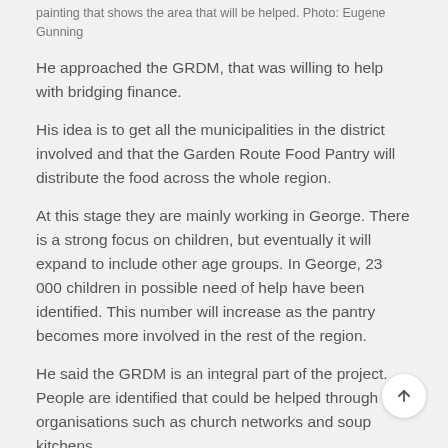painting that shows the area that will be helped. Photo: Eugene Gunning
He approached the GRDM, that was willing to help with bridging finance.
His idea is to get all the municipalities in the district involved and that the Garden Route Food Pantry will distribute the food across the whole region.
At this stage they are mainly working in George. There is a strong focus on children, but eventually it will expand to include other age groups. In George, 23 000 children in possible need of help have been identified. This number will increase as the pantry becomes more involved in the rest of the region.
He said the GRDM is an integral part of the project. People are identified that could be helped through organisations such as church networks and soup kitchens.